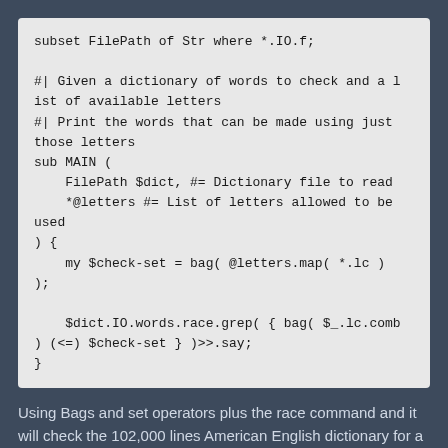[Figure (screenshot): Code block showing Raku/Perl6 code: subset FilePath of Str where *.IO.f; with a sub MAIN function that uses bags and set operators to check words against available letters]
Using Bags and set operators plus the race command and it will check the 102,000 lines American English dictionary for a list of 6 letters in 3 seconds. That'll do.